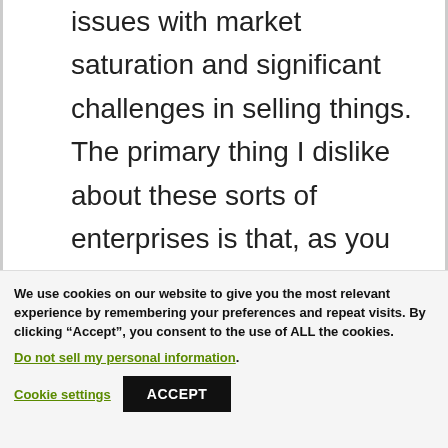issues with market saturation and significant challenges in selling things. The primary thing I dislike about these sorts of enterprises is that, as you indicated, you must recruit others in order to get started, and once you sit, your chances of success are nil. That is
We use cookies on our website to give you the most relevant experience by remembering your preferences and repeat visits. By clicking “Accept”, you consent to the use of ALL the cookies.
Do not sell my personal information.
Cookie settings
ACCEPT